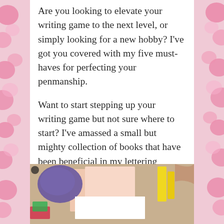Are you looking to elevate your writing game to the next level, or simply looking for a new hobby? I've got you covered with my five must-haves for perfecting your penmanship.
Want to start stepping up your writing game but not sure where to start? I've amassed a small but mighty collection of books that have been beneficial in my lettering journey and here's a few I couldn't recommend more:
[Figure (photo): Photo of a desk scene with writing/lettering supplies including books, cards, and stationery items]